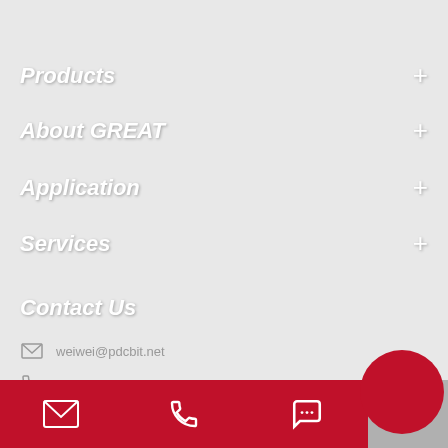Products
About GREAT
Application
Services
Contact Us
weiwei@pdcbit.net
+86-13161769999
No. 2, Jianshe North Street, Yingzhou Economic Develo...